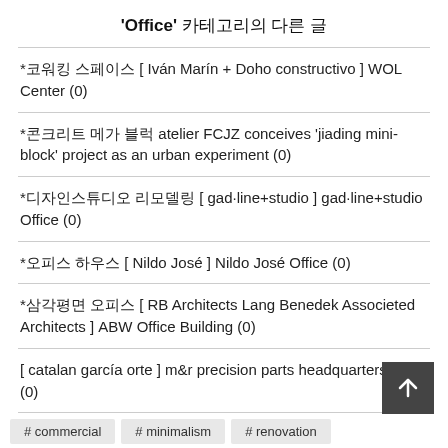'Office' 카테고리의 다른 글
*코워킹 스페이스 [ Iván Marín + Doho constructivo ] WOL Center (0)
*콘크리트 메가 블럭 atelier FCJZ conceives 'jiading mini-block' project as an urban experiment (0)
*디자인스튜디오 리모델링 [ gad·line+studio ] gad·line+studio Office (0)
*오피스 하우스 [ Nildo José ] Nildo José Office (0)
*삼각평면 오피스 [ RB Architects Lang Benedek Associeted Architects ] ABW Office Building (0)
[ catalan garcía orte ] m&r precision parts headquarters. rubí (0)
# commercial  # minimalism  # renovation